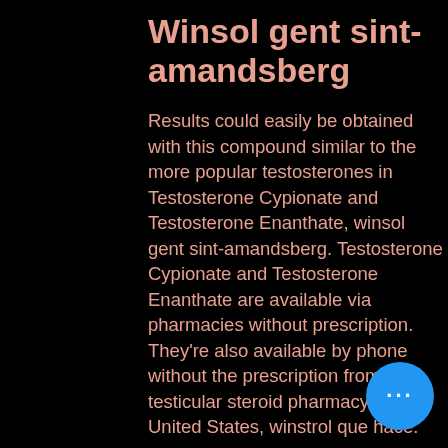Winsol gent sint-amandsberg
Results could easily be obtained with this compound similar to the more popular testosterones in Testosterone Cypionate and Testosterone Enanthate, winsol gent sint-amandsberg. Testosterone Cypionate and Testosterone Enanthate are available via pharmacies without prescription. They're also available by phone without the prescription from any testicular steroid pharmacy in the United States, winstrol que hace.
We used the most popular steroidal testosterone by the time it was released in 2000, winstrol where to buy. It's now called Testosterone Enanthate, winsol gent sint-amandsberg. When we compared TSE TDF we saw the differences were virtually